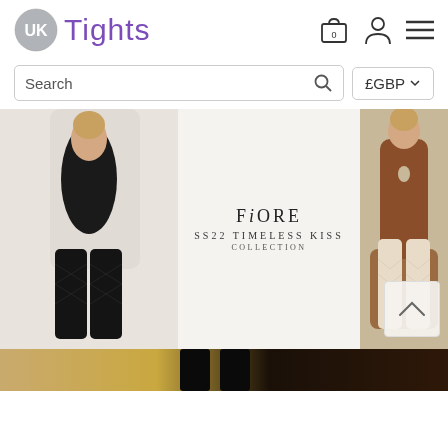UK Tights — website header with logo, cart icon (0), account icon, and menu icon
Search | £GBP
[Figure (photo): UK Tights website banner showing two fashion models wearing tights, with center text reading FiORE SS22 TIMELESS KISS COLLECTION. Left model wears patterned black tights, right model wears cream/white tights in a brown leather chair. A scroll-to-top arrow button is visible at the bottom right.]
[Figure (photo): Partial bottom strip showing a model from the waist down wearing black tights against a gold/dark background.]